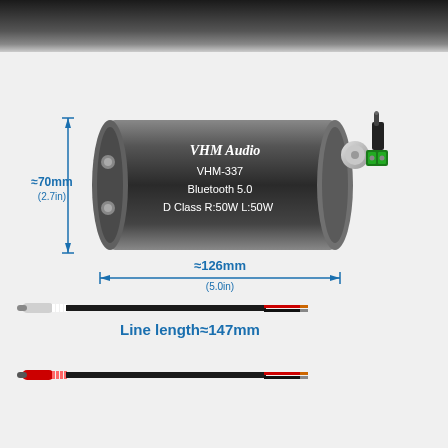[Figure (photo): VHM Audio VHM-337 Bluetooth 5.0 Class D amplifier module (black cylindrical unit) with dimension annotations: approximately 70mm (2.7in) height and approximately 126mm (5.0in) length. Also shown: DC barrel jack connector, terminal block connector, and two cables with RCA connectors (white and red). Text on device: VHM Audio, VHM-337, Bluetooth 5.0, D Class R:50W L:50W. Bottom annotation: Line length approximately 147mm.]